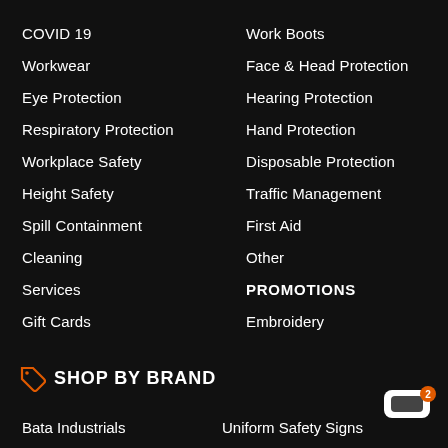COVID 19
Work Boots
Workwear
Face & Head Protection
Eye Protection
Hearing Protection
Respiratory Protection
Hand Protection
Workplace Safety
Disposable Protection
Height Safety
Traffic Management
Spill Containment
First Aid
Cleaning
Other
Services
PROMOTIONS
Gift Cards
Embroidery
SHOP BY BRAND
Bata Industrials
Uniform Safety Signs